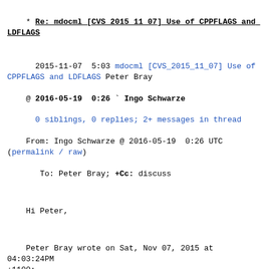* Re: mdocml [CVS 2015 11 07] Use of CPPFLAGS and LDFLAGS
2015-11-07  5:03 mdocml [CVS_2015_11_07] Use of CPPFLAGS and LDFLAGS Peter Bray
@ 2016-05-19  0:26 ` Ingo Schwarze
  0 siblings, 0 replies; 2+ messages in thread
From: Ingo Schwarze @ 2016-05-19  0:26 UTC (permalink / raw)
   To: Peter Bray; +Cc: discuss
Hi Peter,
Peter Bray wrote on Sat, Nov 07, 2015 at 04:03:24PM +1100:
> When configuring mdocml from CVS (2015-11-07 11:47AEST), I noticed
> that 'configure' did not find sqlite, which on my system is not in
> /usr/local or /usr.
>
> Investigations showed that neither CPPFLAGS or LDFLAGS are used by the
> 'configure' script.
If *any* environment variables would be picked up by ./configure,
i would consider that a bug.  I specifically designed ./configure